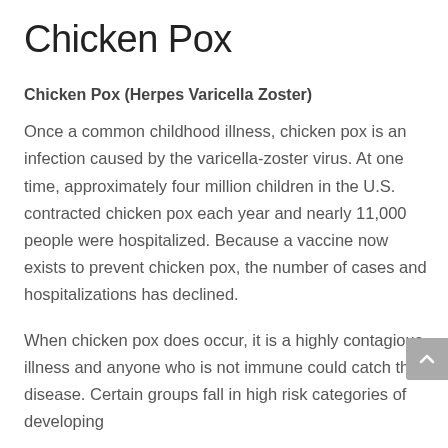Chicken Pox
Chicken Pox (Herpes Varicella Zoster)
Once a common childhood illness, chicken pox is an infection caused by the varicella-zoster virus. At one time, approximately four million children in the U.S. contracted chicken pox each year and nearly 11,000 people were hospitalized. Because a vaccine now exists to prevent chicken pox, the number of cases and hospitalizations has declined.
When chicken pox does occur, it is a highly contagious illness and anyone who is not immune could catch the disease. Certain groups fall in high risk categories of developing